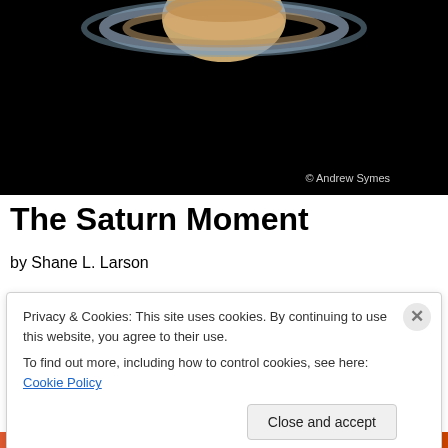[Figure (photo): Photograph of Saturn with rings visible, on a black background, with copyright watermark '© Andrew Symes' in bottom right]
The Saturn Moment
by Shane L. Larson
Privacy & Cookies: This site uses cookies. By continuing to use this website, you agree to their use.
To find out more, including how to control cookies, see here: Cookie Policy
[Close and accept]